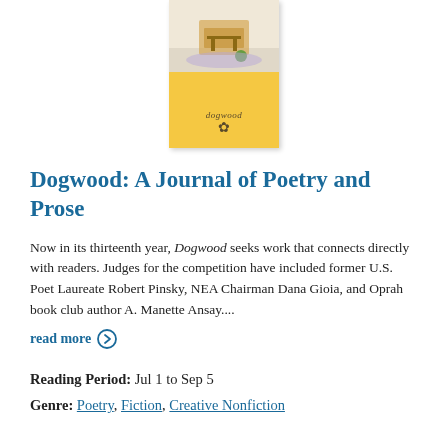[Figure (photo): Book cover of Dogwood: A Journal of Poetry and Prose, showing a yellow cover with a photo at the top and the word 'dogwood' in the center]
Dogwood: A Journal of Poetry and Prose
Now in its thirteenth year, Dogwood seeks work that connects directly with readers. Judges for the competition have included former U.S. Poet Laureate Robert Pinsky, NEA Chairman Dana Gioia, and Oprah book club author A. Manette Ansay....
read more →
Reading Period:  Jul 1 to Sep 5
Genre:  Poetry, Fiction, Creative Nonfiction